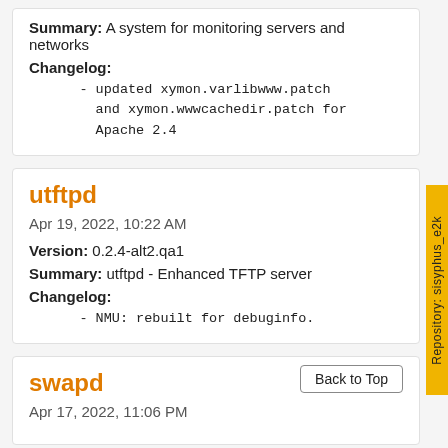Summary: A system for monitoring servers and networks
Changelog:
- updated xymon.varlibwww.patch and xymon.wwwcachedir.patch for Apache 2.4
utftpd
Apr 19, 2022, 10:22 AM
Version: 0.2.4-alt2.qa1
Summary: utftpd - Enhanced TFTP server
Changelog:
- NMU: rebuilt for debuginfo.
swapd
Apr 17, 2022, 11:06 PM
Repository: sisyphus_e2k